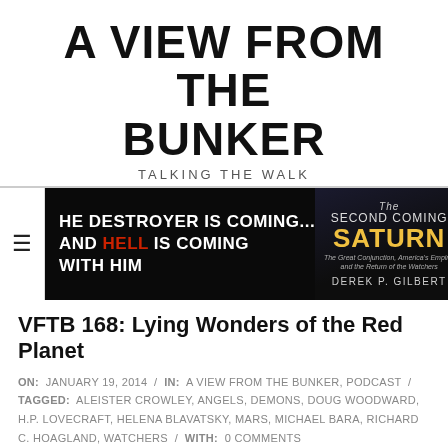A VIEW FROM THE BUNKER
TALKING THE WALK
[Figure (illustration): Dark banner ad showing text 'THE DESTROYER IS COMING... AND HELL IS COMING WITH HIM' with book cover for 'The Second Coming of Saturn' by Derek P. Gilbert on the right]
VFTB 168: Lying Wonders of the Red Planet
ON: JANUARY 19, 2014 / IN: A VIEW FROM THE BUNKER, PODCAST / TAGGED: ALEISTER CROWLEY, ANGELS, DEMONS, DOUG WOODWARD, H.P. LOVECRAFT, HELENA BLAVATSKY, MARS, MICHAEL BARA, RICHARD C. HOAGLAND, WATCHERS / WITH: 0 COMMENTS
MARS HAS fascinated people since the
[Figure (illustration): Dark image with Bible verse text: 'EVEN HIM WHOSE COMING IS AFTER THE WORKING OF SATAN WITH ALL POWER AND SIGNS AND LYING WONDERS (2 THESSALONIANS 2:9)']